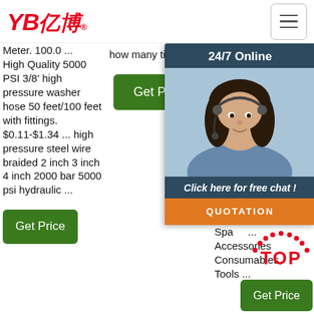[Figure (logo): YB亿博 logo in red italic text with registered trademark symbol]
[Figure (other): Hamburger menu button with three horizontal lines in a rounded rectangle]
Meter. 100.0 ... High Quality 5000 PSI 3/8' high pressure washer hose 50 feet/100 feet with fittings. $0.11-$1.34 ... high pressure steel wire braided 2 inch 3 inch 4 inch 2000 bar 5000 psi hydraulic ...
[Figure (other): Green 'Get Price' button]
how many times a
[Figure (other): Green 'Get Price' button in center column]
Adaptors, Cor... Swi... Pre... Equ... & W... Acc... Equ... Acc... & L... Equ... Site... Equ... Spa... Accessories Consumables, Tools ...
[Figure (photo): 24/7 Online chat overlay widget showing a woman with headset, with 'Click here for free chat!' text and QUOTATION button]
[Figure (other): TOP badge with red dotted arc and red text]
[Figure (other): Green Get Price button at bottom right]